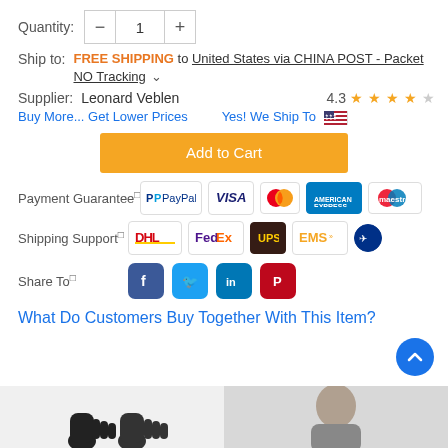Quantity: − 1 +
Ship to: FREE SHIPPING to United States via CHINA POST - Packet NO Tracking ▾
Supplier: Leonard Veblen  4.3 ★★★★☆
Buy More... Get Lower Prices   Yes! We Ship To 🇺🇸
[Figure (other): Add to Cart orange button]
[Figure (other): Payment Guarantee logos: PayPal, VISA, MasterCard, American Express, Maestro]
[Figure (other): Shipping Support logos: DHL, FedEx, UPS, EMS, Panalpina]
[Figure (other): Share To social icons: Facebook, Twitter, LinkedIn, Pinterest]
What Do Customers Buy Together With This Item?
[Figure (photo): Bottom thumbnails: gloves on left side, person on right side]